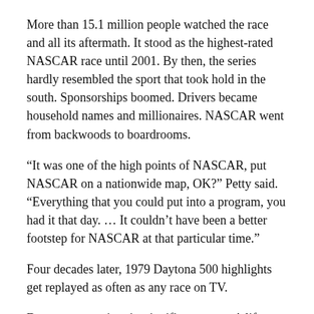More than 15.1 million people watched the race and all its aftermath. It stood as the highest-rated NASCAR race until 2001. By then, the series hardly resembled the sport that took hold in the south. Sponsorships boomed. Drivers became household names and millionaires. NASCAR went from backwoods to boardrooms.
“It was one of the high points of NASCAR, put NASCAR on a nationwide map, OK?” Petty said. “Everything that you could put into a program, you had it that day. … It couldn’t have been a better footstep for NASCAR at that particular time.”
Four decades later, 1979 Daytona 500 highlights get replayed as often as any race on TV.
Daytona recognizes its significance, too. A life-sized color picture of the fight adorns a wall inside the Turn 1 tunnel.